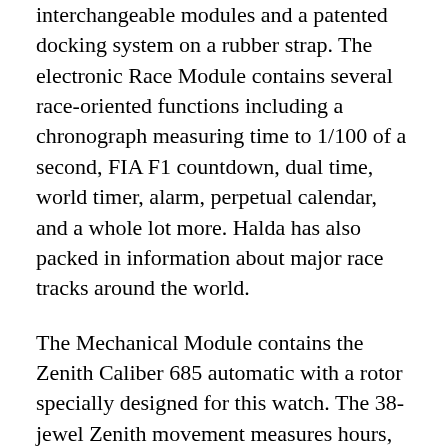interchangeable modules and a patented docking system on a rubber strap. The electronic Race Module contains several race-oriented functions including a chronograph measuring time to 1/100 of a second, FIA F1 countdown, dual time, world timer, alarm, perpetual calendar, and a whole lot more. Halda has also packed in information about major race tracks around the world.
The Mechanical Module contains the Zenith Caliber 685 automatic with a rotor specially designed for this watch. The 38-jewel Zenith movement measures hours, minutes, and seconds, and incorporates a date function and power reserve indicator. Both front and back of the case sport domed sapphire crystals. Both modules are